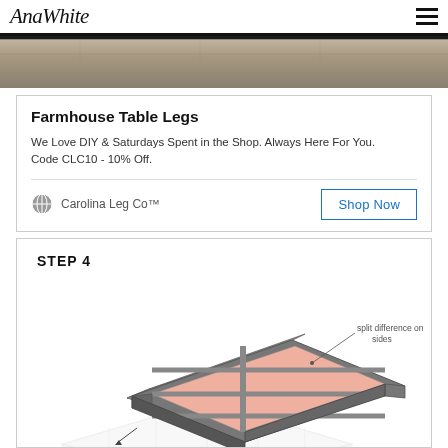AnaWhite
[Figure (photo): Close-up photo of weathered wood planks, partial view]
Farmhouse Table Legs
We Love DIY & Saturdays Spent in the Shop. Always Here For You. Code CLC10 - 10% Off.
Carolina Leg Co™
STEP 4
[Figure (illustration): Engineering-style illustration of a tabletop frame viewed from an isometric angle. The frame has a dark gray border with pink/salmon colored planks inside. A callout label reads 'split difference on the sides'. A second lighter version of the same diagram is visible at the bottom of the page.]